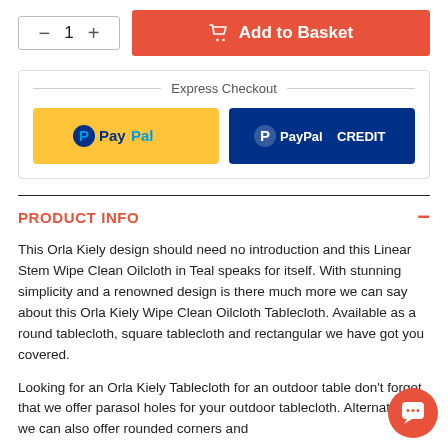[Figure (screenshot): Quantity selector with minus and plus buttons showing quantity 1, next to an orange Add to Basket button with a basket icon]
Express Checkout
[Figure (logo): PayPal button (yellow background with PayPal logo)]
[Figure (logo): PayPal CREDIT button (dark blue background with PayPal CREDIT logo)]
PRODUCT INFO
This Orla Kiely design should need no introduction and this Linear Stem Wipe Clean Oilcloth in Teal speaks for itself. With stunning simplicity and a renowned design is there much more we can say about this Orla Kiely Wipe Clean Oilcloth Tablecloth. Available as a round tablecloth, square tablecloth and rectangular we have got you covered.
Looking for an Orla Kiely Tablecloth for an outdoor table don't forget that we offer parasol holes for your outdoor tablecloth. Alternatively we can also offer rounded corners and